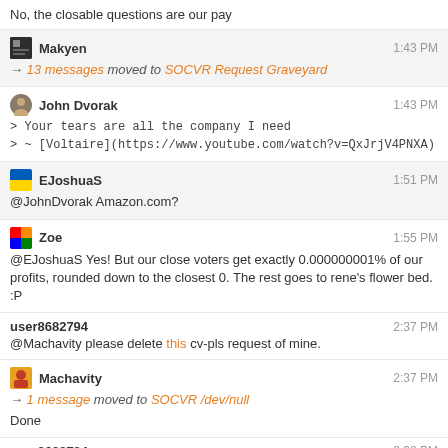No, the closable questions are our pay
Makyen 1:43 PM → 13 messages moved to SOCVR Request Graveyard
John Dvorak 1:43 PM > Your tears are all the company I need > ~ [Voltaire](https://www.youtube.com/watch?v=QxJrjV4PNXA)
EJoshuaS 1:51 PM @JohnDvorak Amazon.com?
Zoe 1:55 PM @EJoshuaS Yes! But our close voters get exactly 0.000000001% of our profits, rounded down to the closest 0. The rest goes to rene's flower bed. :P
user8682794 2:37 PM @Machavity please delete this cv-pls request of mine.
Machavity 2:37 PM → 1 message moved to SOCVR /dev/null Done
user8682794 2:38 PM Thanks.
Stephen Kennedy 4:00 PM → 12 messages moved to SOCVR Request Graveyard